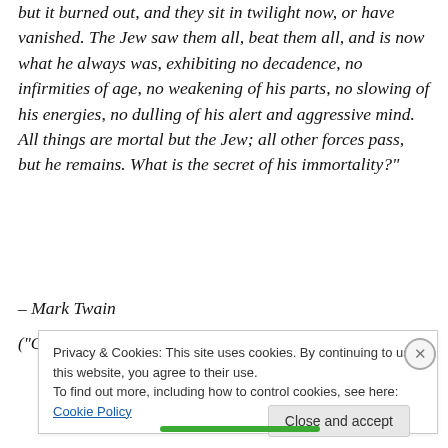but it burned out, and they sit in twilight now, or have vanished. The Jew saw them all, beat them all, and is now what he always was, exhibiting no decadence, no infirmities of age, no weakening of his parts, no slowing of his energies, no dulling of his alert and aggressive mind. All things are mortal but the Jew; all other forces pass, but he remains. What is the secret of his immortality?"
– Mark Twain
("Concerning The Jews," Harper's Magazine
Privacy & Cookies: This site uses cookies. By continuing to use this website, you agree to their use.
To find out more, including how to control cookies, see here: Cookie Policy